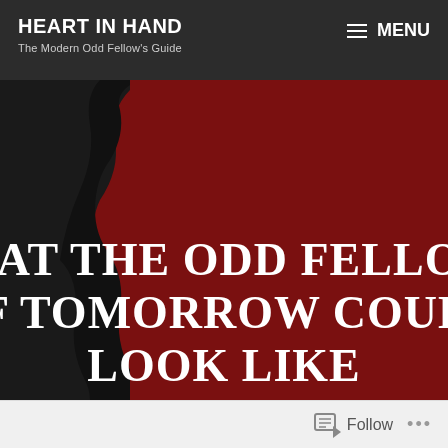HEART IN HAND — The Modern Odd Fellow's Guide | MENU
[Figure (illustration): Hero image with dark red/crimson background and a black silhouette of a figure on the left side. Large white serif text overlaid reads: WHAT THE ODD FELLOWS OF TOMORROW COULD LOOK LIKE]
WHAT THE ODD FELLOWS OF TOMORROW COULD LOOK LIKE
Follow ...